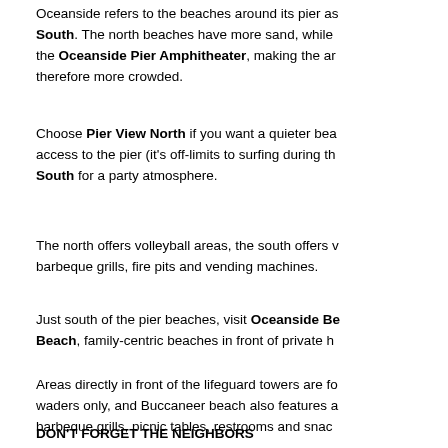Oceanside refers to the beaches around its pier as North and South. The north beaches have more sand, while the Oceanside Pier Amphitheater, making the area therefore more crowded.
Choose Pier View North if you want a quieter beach with access to the pier (it's off-limits to surfing during the summer). South for a party atmosphere.
The north offers volleyball areas, the south offers w... barbeque grills, fire pits and vending machines.
Just south of the pier beaches, visit Oceanside Be... Beach, family-centric beaches in front of private h...
Areas directly in front of the lifeguard towers are fo... waders only, and Buccaneer beach also features a... barbeque grills, picnic tables, restrooms and snac...
DON'T FORGET THE NEIGHBORS